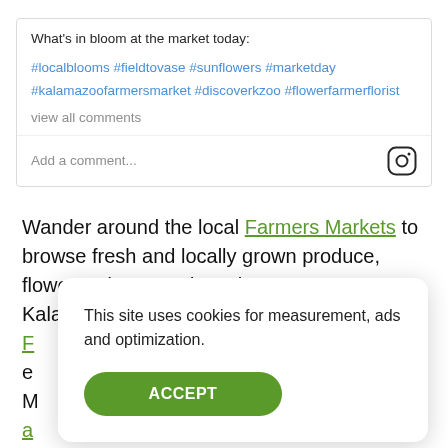What's in bloom at the market today:
#localblooms #fieldtovase #sunflowers #marketday #kalamazoofarmersmarket #discoverkzoo #flowerfarmerflorist
view all comments
Add a comment...
Wander around the local Farmers Markets to browse fresh and locally grown produce, flowers, plants, and much more.  Kalamazoo's Original F e M a
This site uses cookies for measurement, ads and optimization.
ACCEPT